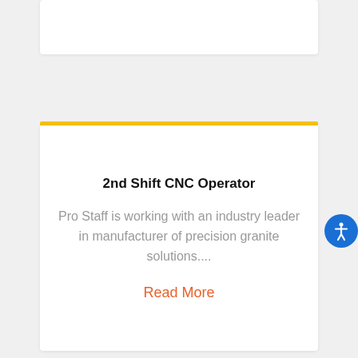2nd Shift CNC Operator
Pro Staff is working with an industry leader in manufacturer of precision granite solutions....
Read More